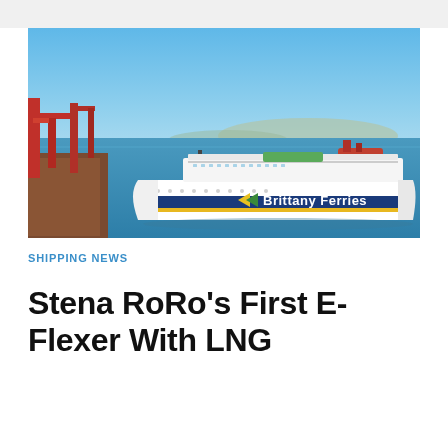[Figure (photo): Aerial view of a port with a large white Brittany Ferries vessel docked alongside red harbor cranes. Blue sea and distant mountains visible in the background under a clear blue sky.]
SHIPPING NEWS
Stena RoRo's First E-Flexer With LNG